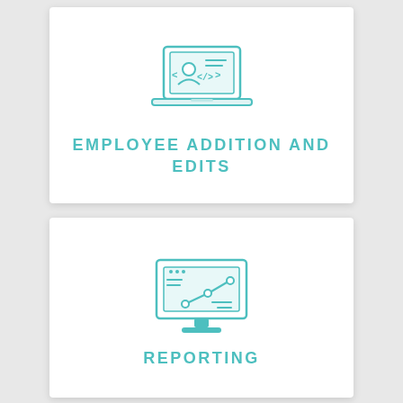[Figure (illustration): Laptop icon with a person/profile and code symbols on screen, in teal/cyan outline style]
EMPLOYEE ADDITION AND EDITS
[Figure (illustration): Desktop monitor icon displaying a line chart with data points, in teal/cyan outline style]
REPORTING